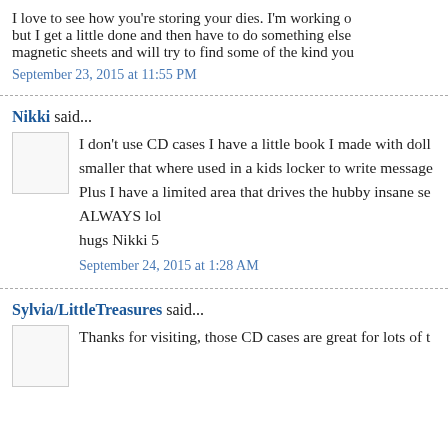I love to see how you're storing your dies. I'm working o but I get a little done and then have to do something else magnetic sheets and will try to find some of the kind you
September 23, 2015 at 11:55 PM
Nikki said...
I don't use CD cases I have a little book I made with doll smaller that where used in a kids locker to write message Plus I have a limited area that drives the hubby insane se ALWAYS lol
hugs Nikki 5
September 24, 2015 at 1:28 AM
Sylvia/LittleTreasures said...
Thanks for visiting, those CD cases are great for lots of t